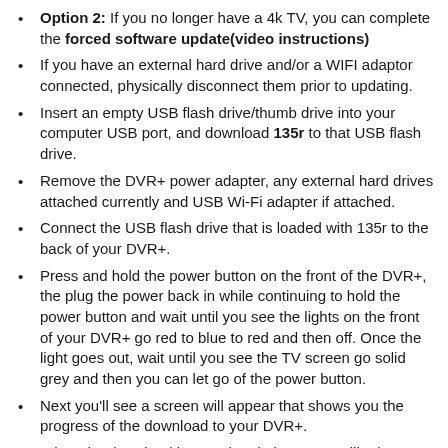Option 2: If you no longer have a 4k TV, you can complete the forced software update(video instructions)
If you have an external hard drive and/or a WIFI adaptor connected, physically disconnect them prior to updating.
Insert an empty USB flash drive/thumb drive into your computer USB port, and download 135r to that USB flash drive.
Remove the DVR+ power adapter, any external hard drives attached currently and USB Wi-Fi adapter if attached.
Connect the USB flash drive that is loaded with 135r to the back of your DVR+.
Press and hold the power button on the front of the DVR+, the plug the power back in while continuing to hold the power button and wait until you see the lights on the front of your DVR+ go red to blue to red and then off. Once the light goes out, wait until you see the TV screen go solid grey and then you can let go of the power button.
Next you'll see a screen will appear that shows you the progress of the download to your DVR+.
When the download is completed, the DVR+ will reboot.
When it has completed turning on/booting, you can remove